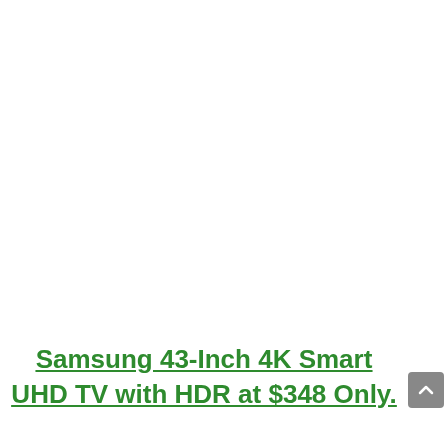Samsung 43-Inch 4K Smart UHD TV with HDR at $348 Only.